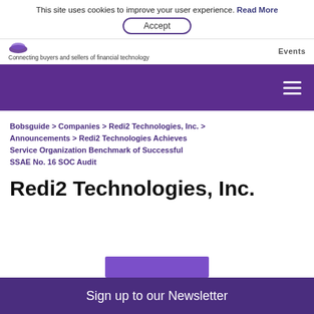This site uses cookies to improve your user experience. Read More
Accept
Connecting buyers and sellers of financial technology
Events
Bobsguide > Companies > Redi2 Technologies, Inc. > Announcements > Redi2 Technologies Achieves Service Organization Benchmark of Successful SSAE No. 16 SOC Audit
Redi2 Technologies, Inc.
Sign up to our Newsletter